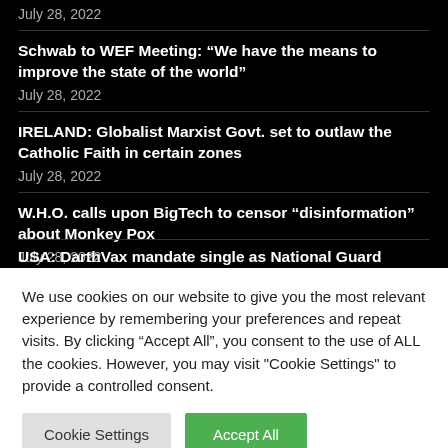July 28, 2022
Schwab to WEF Meeting: “We have the means to improve the state of the world”
July 28, 2022
IRELAND: Globalist Marxist Govt. set to outlaw the Catholic Faith in certain zones
July 28, 2022
W.H.O. calls upon BigTech to censor “disinformation” about Monkey Pox
July 28, 2022
USA: DarthVax mandate single as National Guard
We use cookies on our website to give you the most relevant experience by remembering your preferences and repeat visits. By clicking “Accept All”, you consent to the use of ALL the cookies. However, you may visit "Cookie Settings" to provide a controlled consent.